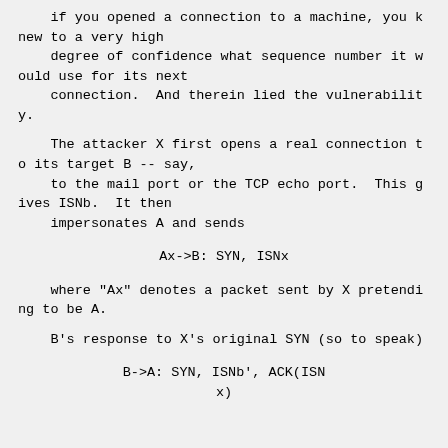if you opened a connection to a machine, you knew to a very high
    degree of confidence what sequence number it would use for its next
    connection.  And therein lied the vulnerability.
The attacker X first opens a real connection to its target B -- say,
    to the mail port or the TCP echo port.  This gives ISNb.  It then
    impersonates A and sends
Ax->B: SYN, ISNx
where "Ax" denotes a packet sent by X pretending to be A.
B's response to X's original SYN (so to speak)
B->A: SYN, ISNb', ACK(ISNx)